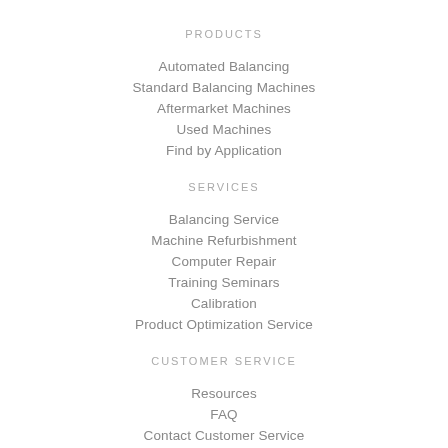PRODUCTS
Automated Balancing
Standard Balancing Machines
Aftermarket Machines
Used Machines
Find by Application
SERVICES
Balancing Service
Machine Refurbishment
Computer Repair
Training Seminars
Calibration
Product Optimization Service
CUSTOMER SERVICE
Resources
FAQ
Contact Customer Service
ABOUT HINES